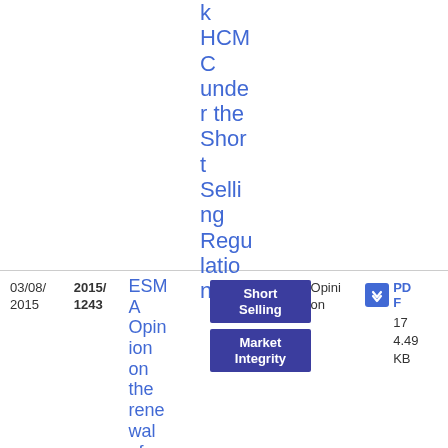k HCMC under the Short Selling Regulation
03/08/2015
2015/1243
ESMA Opinion on the renewal of
Short Selling
Market Integrity
Opinion
PDF 17 4.49 KB